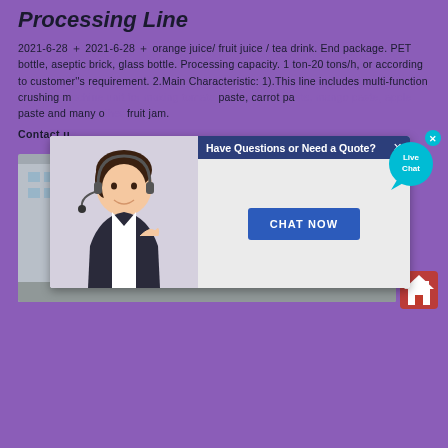Processing Line
2021-6-28 + 2021-6-28 + orange juice/ fruit juice / tea drink. End package. PET bottle, aseptic brick, glass bottle. Processing capacity. 1 ton-20 tons/h, or according to customer''s requirement. 2.Main Characteristic: 1).This line includes multi-function crushing m... paste... carrot pa... appropriate and many o... fruit jam.
Contact u...
[Figure (photo): Chat popup overlay with a customer service representative wearing headset, and a 'CHAT NOW' button, with 'Have Questions or Need a Quote?' header]
[Figure (photo): Industrial factory scene showing large machine equipment being handled by workers wearing hard hats, outside a factory building]